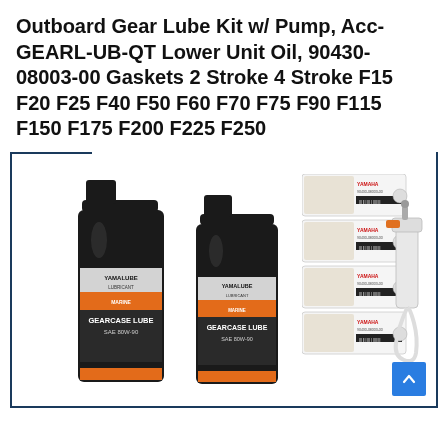Outboard Gear Lube Kit w/ Pump, Acc-GEARL-UB-QT Lower Unit Oil, 90430-08003-00 Gaskets 2 Stroke 4 Stroke F15 F20 F25 F40 F50 F60 F70 F75 F90 F115 F150 F175 F200 F225 F250
[Figure (photo): Product photo showing two black Yamalube Gearcase Lube SAE 80W-90 oil bottles, four Yamaha gasket packets with barcodes and O-rings, and a white gear lube pump with orange fitting and clear tube. Item number 2 badge in dark blue.]